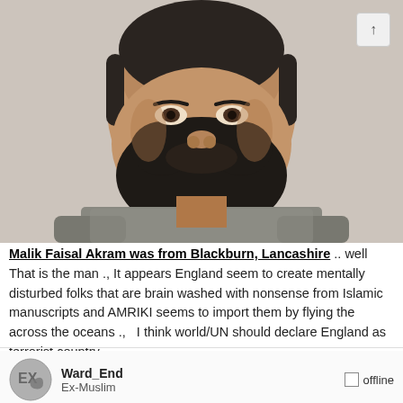[Figure (photo): Close-up photo of a man with a black beard wearing a grey fleece jacket, taken against a light background.]
Malik Faisal Akram was from Blackburn, Lancashire .. well That is the man ., It appears England seem to create mentally disturbed folks that are brain washed with nonsense from Islamic manuscripts and AMRIKI seems to import them by flying the across the oceans ., I think world/UN should declare England as terrorist country
Ward_End
Ex-Muslim
offline
Reply #112 - January 18, 2022, 08:32 AM
Aafia Siddiqui (pb